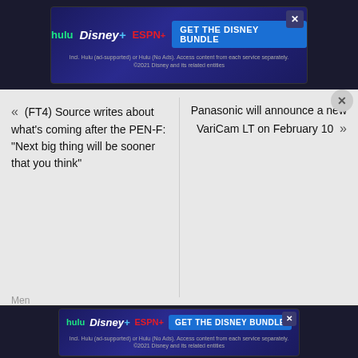[Figure (screenshot): Disney Bundle advertisement banner with Hulu, Disney+, ESPN+ logos and 'GET THE DISNEY BUNDLE' CTA button]
« (FT4) Source writes about what's coming after the PEN-F: "Next big thing will be sooner that you think"
Panasonic will announce a new VariCam LT on February 10 »
Disclaimer
Disclaimer: 43Rumors has no affiliation with any of the equipment manufacturers mentioned on this site. Please visit their official websites by typing the specific brand name and adding .com after it in your browser. All trademarks and brands belong to their respective owners.
Here is the definition of the word "rumor" according to
[Figure (screenshot): Disney Bundle advertisement banner at bottom with Hulu, Disney+, ESPN+ logos and 'GET THE DISNEY BUNDLE' CTA button]